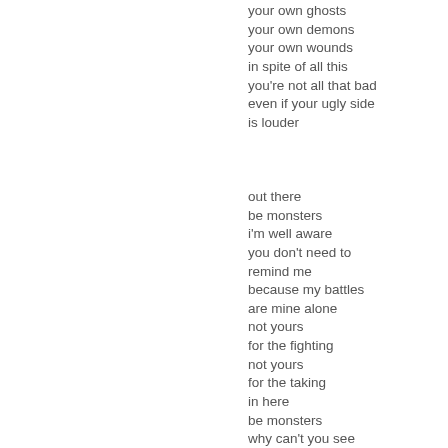your own ghosts
your own demons
your own wounds
in spite of all this
you're not all that bad
even if your ugly side
is louder
out there
be monsters
i'm well aware
you don't need to
remind me
because my battles
are mine alone
not yours
for the fighting
not yours
for the taking
in here
be monsters
why can't you see
that i don't need you
to save me from my sins
why can't you see
that i need to be the one